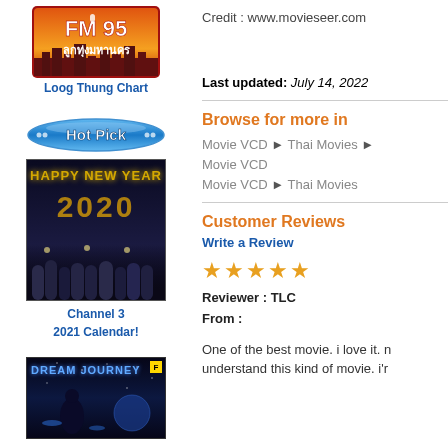[Figure (logo): FM95 Loog Thung Mahanakhon radio station logo with orange/red gradient and Thai text]
Loog Thung Chart
[Figure (illustration): Hot Pick banner in blue oval shape]
[Figure (photo): Happy New Year 2020 Channel 3 calendar image with group of people on stage]
Channel 3
2021 Calendar!
[Figure (photo): Dream Journey album/VCD cover with sci-fi space theme]
Credit : www.movieseer.com
Last updated: July 14, 2022
Browse for more in
Movie VCD > Thai Movies >
Movie VCD
Movie VCD > Thai Movies
Customer Reviews
Write a Review
★★★★★
Reviewer : TLC
From :
One of the best movie. i love it. n understand this kind of movie. i'r